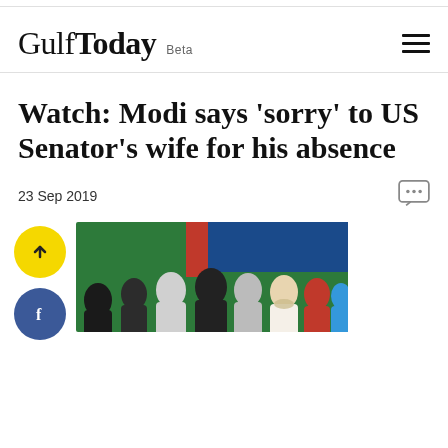Gulf Today Beta
Watch: Modi says 'sorry' to US Senator's wife for his absence
23 Sep 2019
[Figure (photo): Group of world leaders/dignitaries standing together at an event, including a person resembling Narendra Modi in traditional Indian attire, against a green and blue backdrop.]